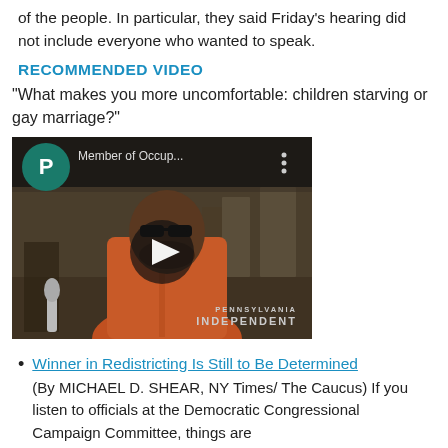of the people. In particular, they said Friday's hearing did not include everyone who wanted to speak.
RECOMMENDED VIDEO
"What makes you more uncomfortable: children starving or gay marriage?"
[Figure (screenshot): Embedded video thumbnail showing a man in an orange shirt standing in a hallway, with a play button overlay. Video title shows 'Member of Occup...' and watermark reads 'PENNSYLVANIA INDEPENDENT'. A green circle with 'P' avatar is visible top-left.]
Winner in Redistricting Is Still to Be Determined (By MICHAEL D. SHEAR, NY Times/ The Caucus) If you listen to officials at the Democratic Congressional Campaign Committee, things are looking up for their candidates. The point is...